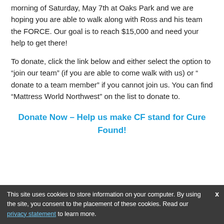morning of Saturday, May 7th at Oaks Park and we are hoping you are able to walk along with Ross and his team the FORCE. Our goal is to reach $15,000 and need your help to get there!
To donate, click the link below and either select the option to “join our team” (if you are able to come walk with us) or “ donate to a team member” if you cannot join us. You can find “Mattress World Northwest” on the list to donate to.
Donate Now – Help us make CF stand for Cure Found!
This site uses cookies to store information on your computer. By using the site, you consent to the placement of these cookies. Read our privacy statement to learn more.